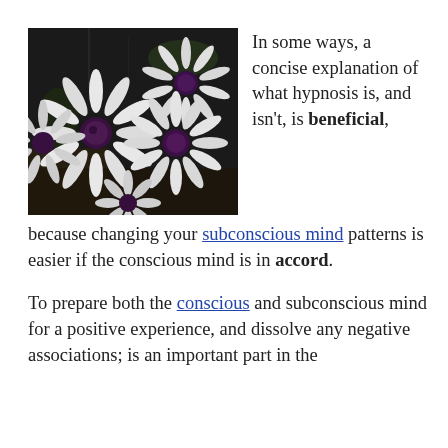[Figure (photo): Photograph of white daisy-like flowers with dark purple-black centers, shot from above on a dark background]
In some ways, a concise explanation of what hypnosis is, and isn't, is beneficial, because changing your subconscious mind patterns is easier if the conscious mind is in accord.
To prepare both the conscious and subconscious mind for a positive experience, and dissolve any negative associations; is an important part in the